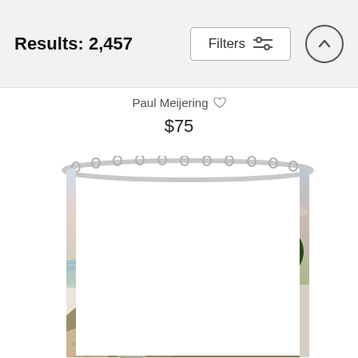Results: 2,457
Paul Meijering ♡
$75
[Figure (photo): A shower curtain hanging on a curved rod, printed with a watercolor painting of a golf course on a clifftop overlooking a lake or ocean, with trees in the background and sand bunkers visible. Pastel sky with pink and blue hues.]